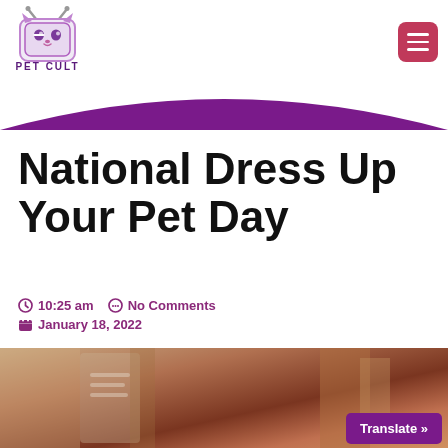[Figure (logo): Pet Cult logo: cartoon TV with animal face, text PET CULT below]
National Dress Up Your Pet Day
10:25 am   No Comments
January 18, 2022
[Figure (photo): Blurred photo of a pet in costume with warm brown and orange tones]
Translate »